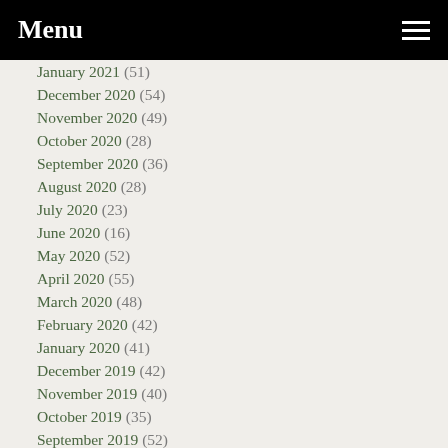Menu
January 2021 (51)
December 2020 (54)
November 2020 (49)
October 2020 (28)
September 2020 (36)
August 2020 (28)
July 2020 (23)
June 2020 (16)
May 2020 (52)
April 2020 (55)
March 2020 (48)
February 2020 (42)
January 2020 (41)
December 2019 (42)
November 2019 (40)
October 2019 (35)
September 2019 (52)
August 2019 (17)